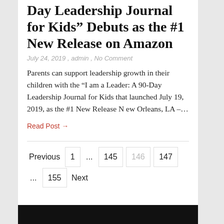Day Leadership Journal for Kids” Debuts as the #1 New Release on Amazon
July 24, 2019 , admin , No Comment
Parents can support leadership growth in their children with the “I am a Leader: A 90-Day Leadership Journal for Kids that launched July 19, 2019, as the #1 New Release N ew Orleans, LA –...
Read Post →
Previous  1  ...  145  146  147  ...  155  Next